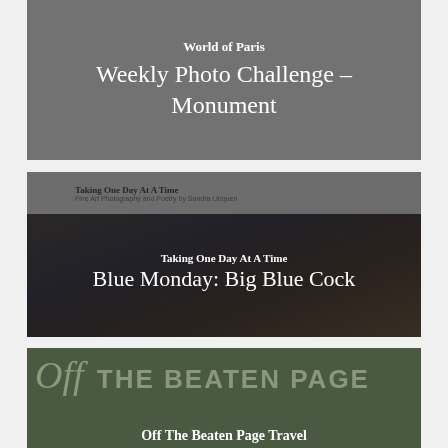[Figure (screenshot): Blog card with gray background showing 'World of Paris' site name and 'Weekly Photo Challenge – Monument' title in white text on gray]
[Figure (screenshot): Blog card for 'Taking One Day At A Time' showing 'Blue Monday: Big Blue Cock' title over dark composite image with flowers and bridge]
[Figure (screenshot): Partial blog card for 'Off The Beaten Page' travel blog showing stylized text logo and partial title beginning with 'Off The Beaten Page Travel']